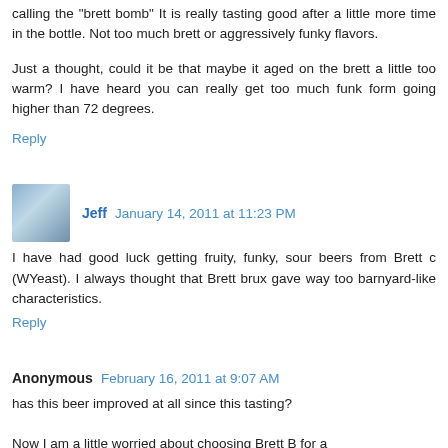calling the "brett bomb" It is really tasting good after a little more time in the bottle. Not too much brett or aggressively funky flavors.
Just a thought, could it be that maybe it aged on the brett a little too warm? I have heard you can really get too much funk form going higher than 72 degrees.
Reply
Jeff  January 14, 2011 at 11:23 PM
I have had good luck getting fruity, funky, sour beers from Brett c (WYeast). I always thought that Brett brux gave way too barnyard-like characteristics.
Reply
Anonymous  February 16, 2011 at 9:07 AM
has this beer improved at all since this tasting?
Now I am a little worried about choosing Brett B for a